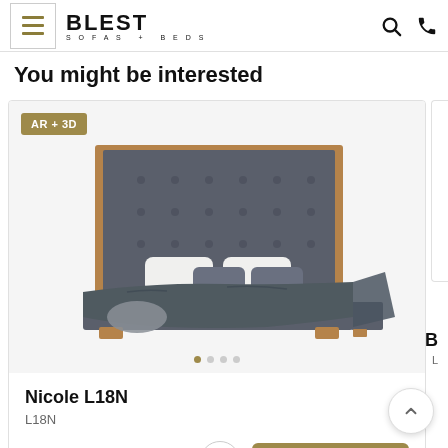BLEST SOFAS + BEDS
You might be interested
[Figure (photo): Product card showing a modern upholstered bed 'Nicole L18N' with dark grey tufted headboard, walnut wood frame, white pillows, and dark grey bedding. Badge 'AR + 3D' in top left corner. Carousel dot indicators at bottom. Heart icon and 'Buy in one click' button below.]